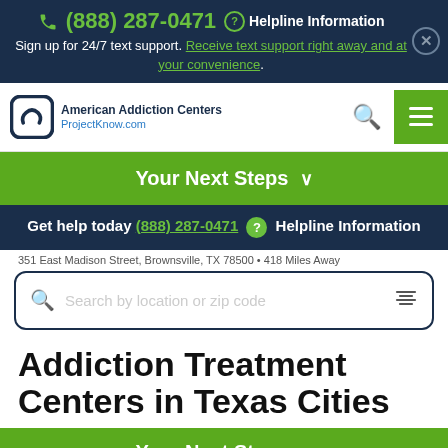(888) 287-0471 Helpline Information
Sign up for 24/7 text support. Receive text support right away and at your convenience.
[Figure (logo): American Addiction Centers / ProjectKnow.com logo with navigation icons]
Your Next Steps
Get help today (888) 287-0471 ? Helpline Information
351 East Madison Street, Brownsville, TX 78500 • 418 Miles Away
Search by location or zip code
Addiction Treatment Centers in Texas Cities
Your Next Steps